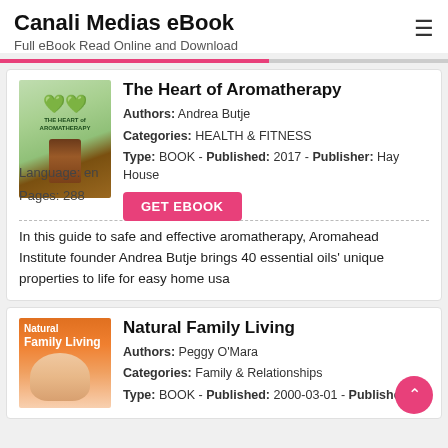Canali Medias eBook
Full eBook Read Online and Download
The Heart of Aromatherapy
Authors: Andrea Butje
Categories: HEALTH & FITNESS
Type: BOOK - Published: 2017 - Publisher: Hay House
Language: en
Pages: 288
GET EBOOK
In this guide to safe and effective aromatherapy, Aromahead Institute founder Andrea Butje brings 40 essential oils' unique properties to life for easy home usa
Natural Family Living
Authors: Peggy O'Mara
Categories: Family & Relationships
Type: BOOK - Published: 2000-03-01 - Publisher: